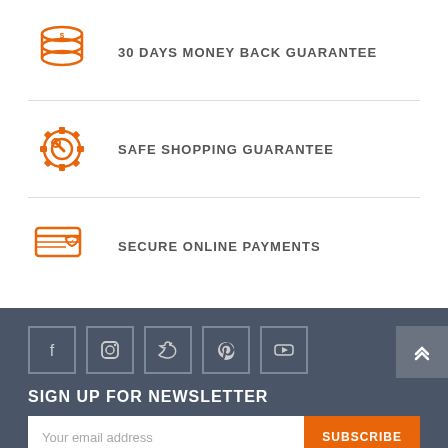30 DAYS MONEY BACK GUARANTEE
SAFE SHOPPING GUARANTEE
SECURE ONLINE PAYMENTS
[Figure (illustration): Social media icons in bordered square boxes: Facebook, Instagram, Twitter, Pinterest, YouTube]
SIGN UP FOR NEWSLETTER
Your email address
SUBSCRIBE
Leave a message